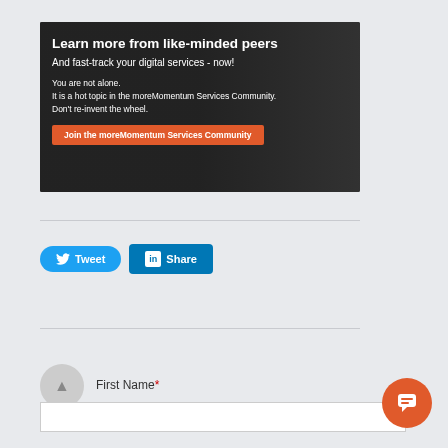[Figure (infographic): Dark banner ad with crowd background showing text: Learn more from like-minded peers, And fast-track your digital services - now!, You are not alone., It is a hot topic in the moreMomentum Services Community., Don't re-invent the wheel., with an orange Join button.]
[Figure (infographic): Social share buttons: blue Tweet button with Twitter bird icon and blue Share button with LinkedIn logo]
First Name*
[Figure (infographic): Orange circular chat bubble button in bottom right corner]